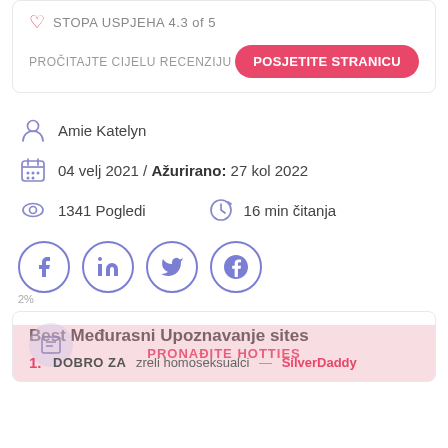STOPA USPJEHA 4.3 of 5
PROČITAJTE CIJELU RECENZIJU
POSJETITE STRANICU
Amie Katelyn
04 velj 2021 / Ažurirano: 27 kol 2022
1341 Pogledi
16 min čitanja
2%
Best Međurasni Upoznavanje sites
PRONAĐITE HOTTIES
DOBRO ZA  zreli homoseksualci  —  SilverDaddy